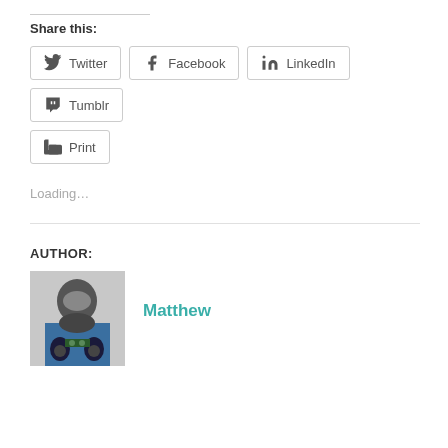Share this:
Twitter
Facebook
LinkedIn
Tumblr
Print
Loading…
AUTHOR:
[Figure (photo): Author photo showing a person wearing a helmet on a bicycle]
Matthew